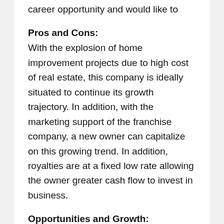career opportunity and would like to
Pros and Cons:
With the explosion of home improvement projects due to high cost of real estate, this company is ideally situated to continue its growth trajectory. In addition, with the marketing support of the franchise company, a new owner can capitalize on this growing trend. In addition, royalties are at a fixed low rate allowing the owner greater cash flow to invest in business.
Opportunities and Growth:
This would be a great opportunity for someone wanting to own their own company with great growth potential and have the support of a leading franchisor. It would also be suited for a